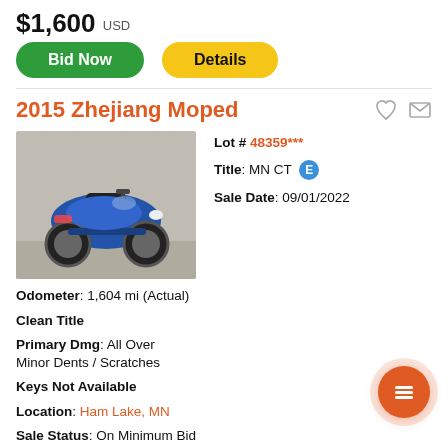$1,600 USD
Bid Now | Details
2015 Zhejiang Moped
[Figure (photo): Photo of a 2015 Zhejiang Moped, blue and black, parked on a concrete surface]
Lot #: 48359***
Title: MN CT [E]
Sale Date: 09/01/2022
Odometer: 1,604 mi (Actual)
Clean Title
Primary Dmg: All Over Minor Dents / Scratches
Keys Not Available
Location: Ham Lake, MN
Sale Status: On Minimum Bid